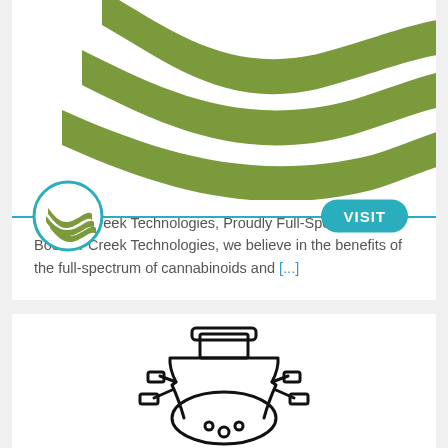[Figure (logo): Boulder Creek Technologies large wave logo — three olive-green wave stripes flowing right to left, decorative header graphic]
[Figure (logo): Boulder Creek Technologies circular logo with olive-green wave stripes inside a teal circle outline, with a teal horizontal line and a teal VISIT button on the right]
Boulder Creek Technologies, Proudly Full-Spectrum At Boulder Creek Technologies, we believe in the benefits of the full-spectrum of cannabinoids and [...]
[Figure (illustration): Black and white outline illustration of a laboratory flask/reactor vessel with multiple ports and clamps]